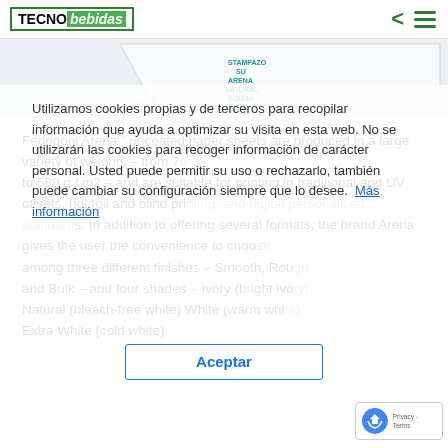TECNObebidas
[Figure (photo): Product image of Fedrigoni Arena paper with a curled corner showing teal text stamp]
Fedrigoni Arena® uncoated paper sheets are produced in a large variety of weights – from 70 up to 580 g / m2 – and are suitable for printing in traditional and UV offsets, hot foil and blind printing, and digital personalised standard. In addition to offering several formats, the brand Arena gives the user the convenience to choose among three different finishes – Smooth, Rough and Bulk – and four shades – Ivory (bright ivory), Natural (bleach-free white) White (warm white) Extra White (cold white).
Utilizamos cookies propias y de terceros para recopilar información que ayuda a optimizar su visita en esta web. No se utilizarán las cookies para recoger información de carácter personal. Usted puede permitir su uso o rechazarlo, también puede cambiar su configuración siempre que lo desee.  Más información
Aceptar